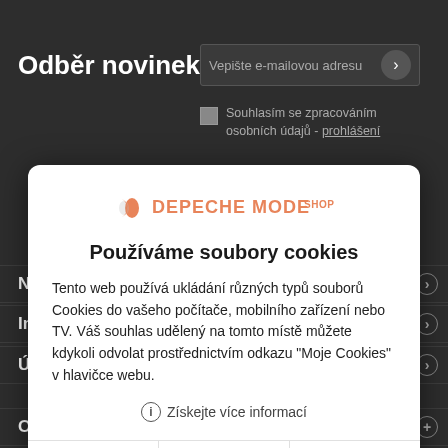Odběr novinek
Vepište e-mailovou adresu
Souhlasím se zpracováním osobních údajů - prohlášení
[Figure (logo): Depeche Mode Shop logo in orange]
Používáme soubory cookies
Tento web používá ukládání různých typů souborů Cookies do vašeho počítače, mobilního zařízení nebo TV. Váš souhlas udělený na tomto místě můžete kdykoli odvolat prostřednictvím odkazu "Moje Cookies" v hlavičce webu.
ⓘ Získejte více informací
≡ Přizpůsobit
✕ Odmítnout
✓ Přijmout
N
In
Ú
O našem obchodě